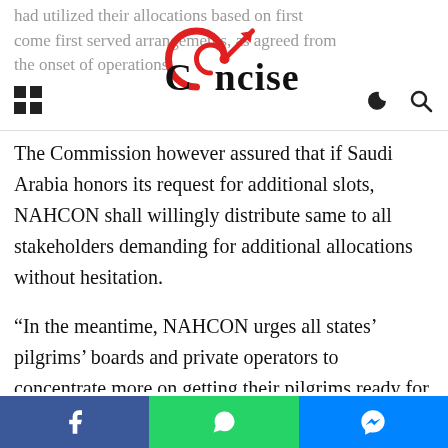Concise (logo header with navigation icons)
had utilized their allocations based on first come first served arrangements, as agreed from the onset of operations.
The Commission however assured that if Saudi Arabia honors its request for additional slots, NAHCON shall willingly distribute same to all stakeholders demanding for additional allocations without hesitation.
“In the meantime, NAHCON urges all states’ pilgrims’ boards and private operators to concentrate more on getting their pilgrims ready for their timely conveyance to Saudi Arabia. The need to move all registered pilgrims to the
Social share bar: Facebook, WhatsApp, Messenger